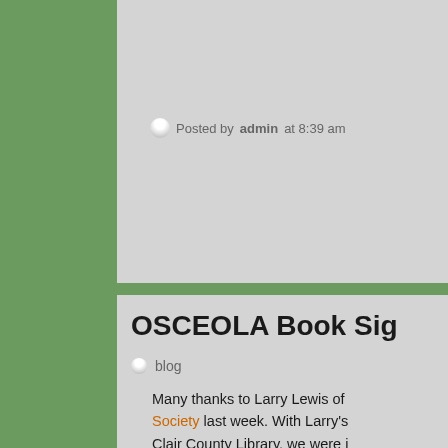Posted by admin at 8:39 am
OSCEOLA Book Sig…
blog
Many thanks to Larry Lewis of Society last week. With Larry's Clair County Library, we were i Historical Society. The town o changes brought on by the con lawsuit filed by the Environmen dam. It was a position that put counties. Feelings were strong curious to see what the reactio